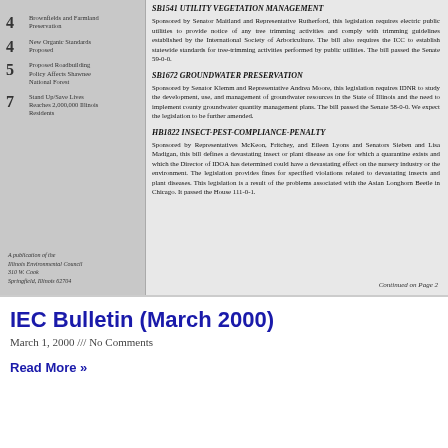[Figure (other): Scanned newsletter page showing table of contents on left with numbered items (4 Brownfields and Farmland Preservation, 4 New Organic Standards Proposed, 5 Proposed Roadbuilding Policy Affects Shawnee National Forest, 7 Stand Up/Save Lives Reaches 2,000,000 Illinois Residents) and publication info for Illinois Environmental Council, 310 W. Cook, Springfield, Illinois 62704]
SB1541 UTILITY VEGETATION MANAGEMENT
Sponsored by Senator Maitland and Representative Rutherford, this legislation requires electric public utilities to provide notice of any tree trimming activities and comply with trimming guidelines established by the International Society of Arboriculture. The bill also requires the ICC to establish statewide standards for tree-trimming activities performed by public utilities. The bill passed the Senate 59-0-0.
SB1672 GROUNDWATER PRESERVATION
Sponsored by Senator Klemm and Representative Andrea Moore, this legislation requires IDNR to study the development, use, and management of groundwater resources in the State of Illinois and the need to implement county groundwater quantity management plans. The bill passed the Senate 58-0-0. We expect the legislation to be further amended.
HB1822 INSECT-PEST-COMPLIANCE-PENALTY
Sponsored by Representatives McKeon, Fritchey, and Eileen Lyons and Senators Sieben and Lisa Madigan, this bill defines a devastating insect or plant disease as one for which a quarantine exists and which the Director of IDOA has determined could have a devastating effect on the nursery industry or the environment. The legislation provides fines for specified violations related to devastating insects and plant diseases. This legislation is a result of the problems associated with the Asian Longhorn Beetle in Chicago. It passed the House 111-0-1.
Continued on Page 2
IEC Bulletin (March 2000)
March 1, 2000 /// No Comments
Read More »